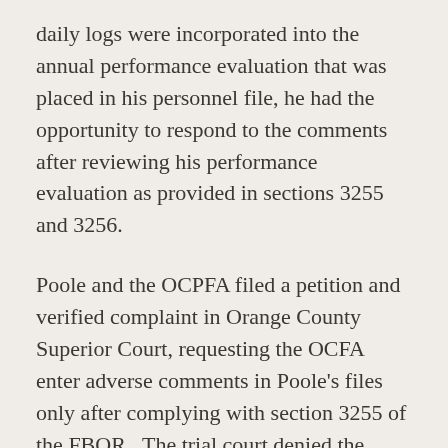daily logs were incorporated into the annual performance evaluation that was placed in his personnel file, he had the opportunity to respond to the comments after reviewing his performance evaluation as provided in sections 3255 and 3256.
Poole and the OCPFA filed a petition and verified complaint in Orange County Superior Court, requesting the OCFA enter adverse comments in Poole's files only after complying with section 3255 of the FBOR.  The trial court denied the petition, likening the daily logs to "post-it" notes that were intended to remind the supervisor of events when he prepared the annual performance evaluation.  The trial court also pointed out the parties conceded that if Captain Culp had written Poole's annual